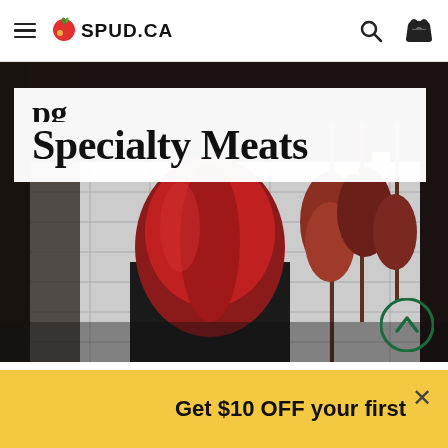SPUD.CA
Specialty Meats
[Figure (photo): A person in a red shirt working at a butcher shop with meat cuts hanging in the background]
May 28, 2020
Over th
Get $10 OFF your first